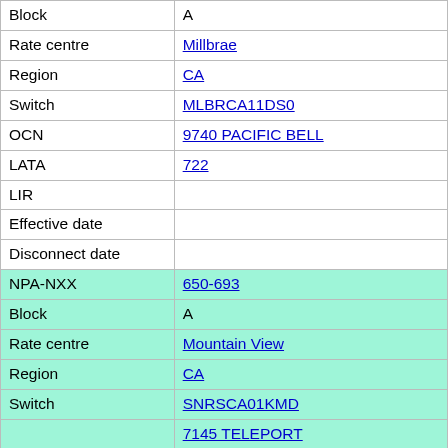| Field | Value |
| --- | --- |
| Block | A |
| Rate centre | Millbrae |
| Region | CA |
| Switch | MLBRCA11DS0 |
| OCN | 9740 PACIFIC BELL |
| LATA | 722 |
| LIR |  |
| Effective date |  |
| Disconnect date |  |
| NPA-NXX | 650-693 |
| Block | A |
| Rate centre | Mountain View |
| Region | CA |
| Switch | SNRSCA01KMD |
| OCN | 7145 TELEPORT COMMUNICATIONS AMERICA, LLC - CA |
| LATA | 722 |
| LIR |  |
| Effective date |  |
| Disconnect date |  |
| NPA-NXX | 650-694 |